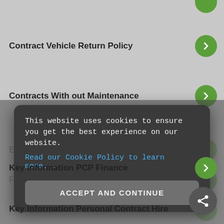Contract Vehicle Return Policy
Contracts With out Maintenance
Effective Leasing Rental
Finance Lease
Flexi Lease
This website uses cookies to ensure you get the best experience on our website.
Read our Cookie Policy to learn more...
ACCEPT AND CONTINUE
Key Information PCP Finance
Key Information Personal Contract Hire